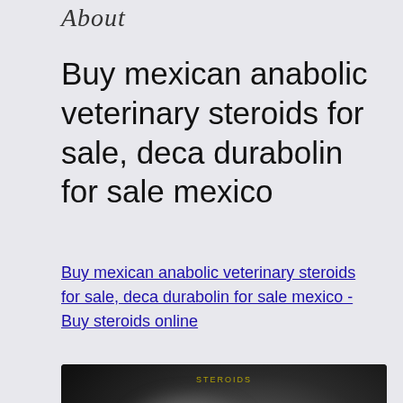About
Buy mexican anabolic veterinary steroids for sale, deca durabolin for sale mexico
Buy mexican anabolic veterinary steroids for sale, deca durabolin for sale mexico - Buy steroids online
[Figure (photo): A dark blurred image, likely a product photo related to steroids, with a small yellow/gold text overlay near the top center.]